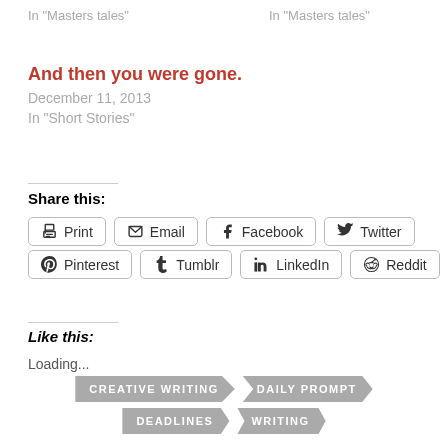In "Masters tales"    In "Masters tales"
And then you were gone.
December 11, 2013
In "Short Stories"
Share this:
Print  Email  Facebook  Twitter  Pinterest  Tumblr  LinkedIn  Reddit
Like this:
Loading...
CREATIVE WRITING  DAILY PROMPT  DEADLINES  WRITING